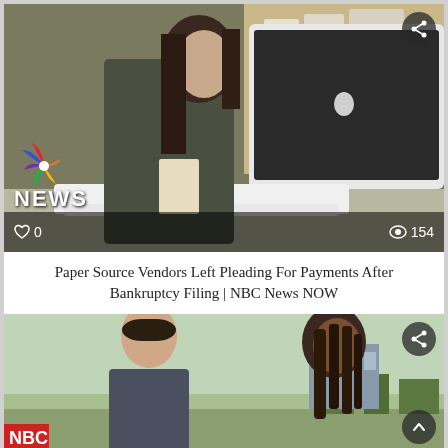[Figure (screenshot): NBC News NOW video thumbnail showing a woman sitting at a desk working on an Apple iMac computer in an office setting. NBC peacock logo and NEWS text visible in lower-left. View count of 154 and heart/like count of 0 visible in bottom bar.]
Paper Source Vendors Left Pleading For Payments After Bankruptcy Filing | NBC News NOW
[Figure (screenshot): Second video thumbnail showing two people outdoors having a conversation, a man and a woman with braided hair. Red NBC logo partially visible at bottom-left. Share and scroll-up buttons visible.]